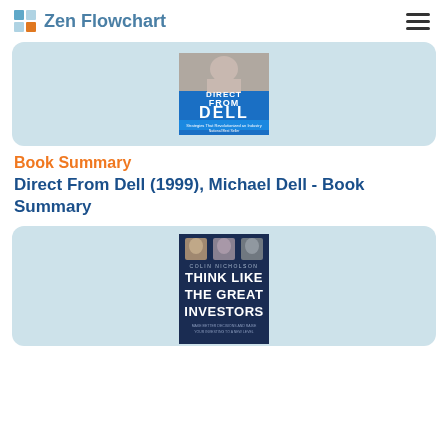Zen Flowchart
[Figure (photo): Book cover: Direct From Dell by Michael Dell. Blue cover with man smiling, text 'DIRECT FROM DELL', 'Strategies That Revolutionized an Industry', 'National Best Seller']
Book Summary
Direct From Dell (1999), Michael Dell - Book Summary
[Figure (photo): Book cover: Think Like The Great Investors by Colin Nicholson. Dark navy cover with three portrait photos and text 'COLIN NICHOLSON', 'THINK LIKE THE GREAT INVESTORS', 'MAKE BETTER DECISIONS AND RAISE YOUR INVESTING TO A NEW LEVEL']